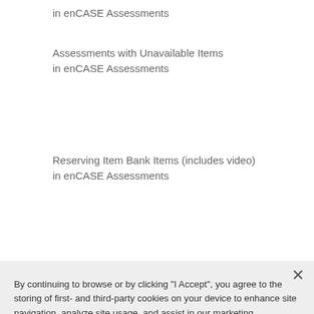in enCASE Assessments
Assessments with Unavailable Items
in enCASE Assessments
Reserving Item Bank Items (includes video)
in enCASE Assessments
By continuing to browse or by clicking "I Accept", you agree to the storing of first- and third-party cookies on your device to enhance site navigation, analyze site usage, and assist in our marketing efforts. Privacy Policy
I Accept
Cookies Settings